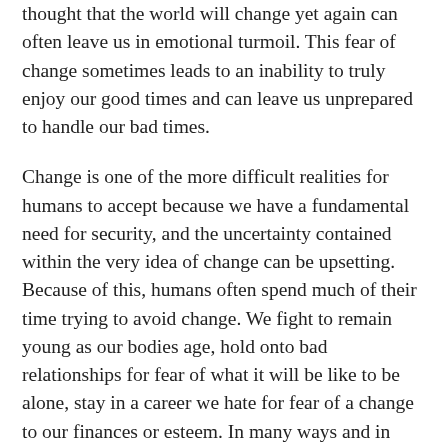thought that the world will change yet again can often leave us in emotional turmoil. This fear of change sometimes leads to an inability to truly enjoy our good times and can leave us unprepared to handle our bad times.
Change is one of the more difficult realities for humans to accept because we have a fundamental need for security, and the uncertainty contained within the very idea of change can be upsetting. Because of this, humans often spend much of their time trying to avoid change. We fight to remain young as our bodies age, hold onto bad relationships for fear of what it will be like to be alone, stay in a career we hate for fear of a change to our finances or esteem. In many ways and in many areas, we hold onto what is, for fear of what will be.
Unfortunately for us, the one true thing that can be said of the universe, is change. The Greek philosopher Heraclitus,